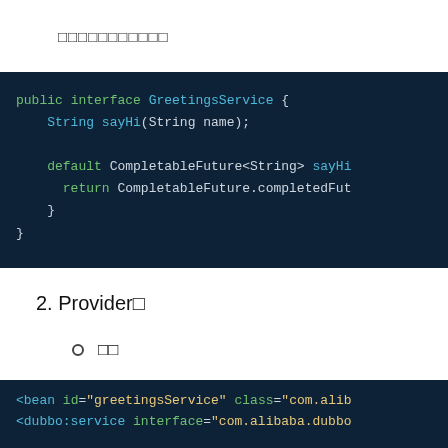定义接口
[Figure (screenshot): Code block showing Java interface definition: public interface GreetingsService { String sayHi(String name); default CompletableFuture<String> sayHi... return CompletableFuture.completedFut... } }]
2. Provider端
配置
[Figure (screenshot): XML code block: <bean id="greetingsService" class="com.alib... <dubbo:service interface="com.alibaba.dubbo...]